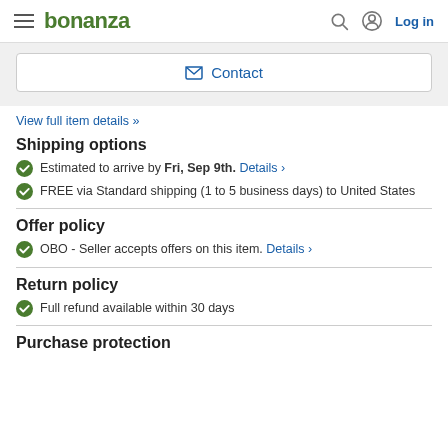bonanza  Log in
Contact
View full item details »
Shipping options
Estimated to arrive by Fri, Sep 9th. Details >
FREE via Standard shipping (1 to 5 business days) to United States
Offer policy
OBO - Seller accepts offers on this item. Details >
Return policy
Full refund available within 30 days
Purchase protection